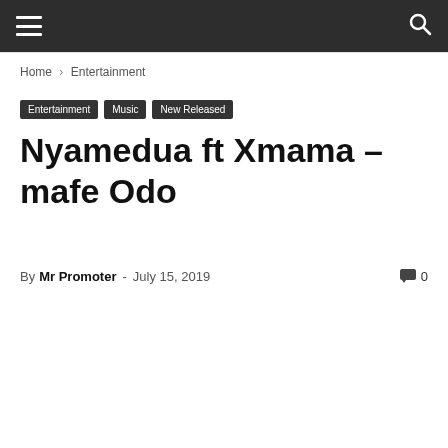Navigation bar with hamburger menu and search icon
Home › Entertainment
Entertainment  Music  New Released
Nyamedua ft Xmama – mafe Odo
By Mr Promoter - July 15, 2019  0